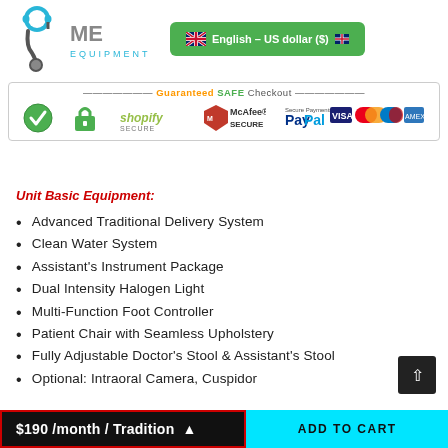[Figure (logo): Medical equipment store logo with stethoscope icon and text, plus English/US dollar language selector button]
[Figure (infographic): Guaranteed SAFE Checkout banner with Shopify, McAfee Secure, PayPal, VISA, Mastercard, Maestro, and American Express payment icons]
Unit Basic Equipment:
Advanced Traditional Delivery System
Clean Water System
Assistant's Instrument Package
Dual Intensity Halogen Light
Multi-Function Foot Controller
Patient Chair with Seamless Upholstery
Fully Adjustable Doctor's Stool & Assistant's Stool
Optional: Intraoral Camera, Cuspidor
$190 /month / Tradition
ADD TO CART